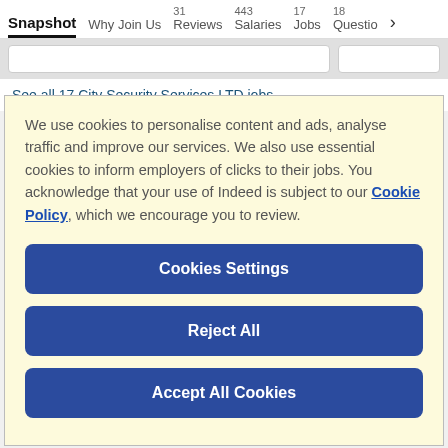Snapshot  Why Join Us  31 Reviews  443 Salaries  17 Jobs  18 Questio >
See all 17 City Security Services LTD jobs
We use cookies to personalise content and ads, analyse traffic and improve our services. We also use essential cookies to inform employers of clicks to their jobs. You acknowledge that your use of Indeed is subject to our Cookie Policy, which we encourage you to review.
Cookies Settings
Reject All
Accept All Cookies